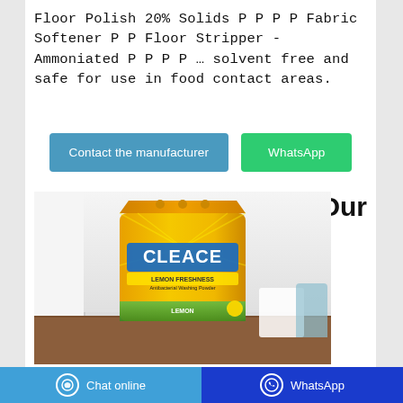Floor Polish 20% Solids P P P P Fabric Softener P P Floor Stripper - Ammoniated P P P P … solvent free and safe for use in food contact areas.
[Figure (other): Two call-to-action buttons: 'Contact the manufacturer' (blue/teal) and 'WhatsApp' (green)]
[Figure (photo): Photo of a yellow bag of CLEACE Lemon Freshness Antibacterial Washing Powder sitting on a wooden table, with white curtains in the background and a teal container to the right.]
Our
Chat online   WhatsApp